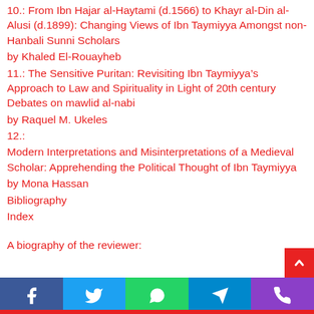10.: From Ibn Hajar al-Haytami (d.1566) to Khayr al-Din al-Alusi (d.1899): Changing Views of Ibn Taymiyya Amongst non-Hanbali Sunni Scholars
by Khaled El-Rouayheb
11.: The Sensitive Puritan: Revisiting Ibn Taymiyya’s Approach to Law and Spirituality in Light of 20th century Debates on mawlid al-nabi
by Raquel M. Ukeles
12.:
Modern Interpretations and Misinterpretations of a Medieval Scholar: Apprehending the Political Thought of Ibn Taymiyya
by Mona Hassan
Bibliography
Index
A biography of the reviewer: